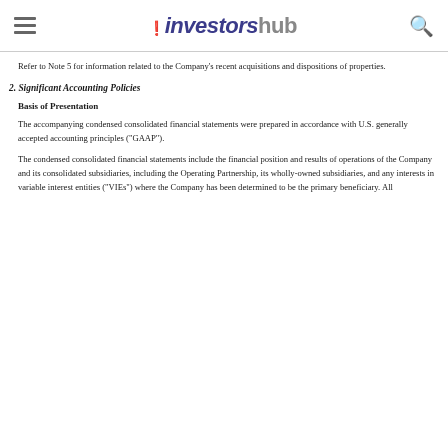investorshub
Refer to Note 5 for information related to the Company's recent acquisitions and dispositions of properties.
2. Significant Accounting Policies
Basis of Presentation
The accompanying condensed consolidated financial statements were prepared in accordance with U.S. generally accepted accounting principles ("GAAP").
The condensed consolidated financial statements include the financial position and results of operations of the Company and its consolidated subsidiaries, including the Operating Partnership, its wholly-owned subsidiaries, and any interests in variable interest entities ("VIEs") where the Company has been determined to be the primary beneficiary. All